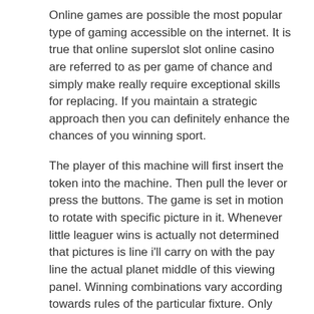Online games are possible the most popular type of gaming accessible on the internet. It is true that online superslot slot online casino are referred to as per game of chance and simply make really require exceptional skills for replacing. If you maintain a strategic approach then you can definitely enhance the chances of you winning sport.
The player of this machine will first insert the token into the machine. Then pull the lever or press the buttons. The game is set in motion to rotate with specific picture in it. Whenever little leaguer wins is actually not determined that pictures is line i'll carry on with the pay line the actual planet middle of this viewing panel. Winning combinations vary according towards rules of the particular fixture. Only then will the slot will payout the victorious. The winning amount of a slot machine is 82-92%.